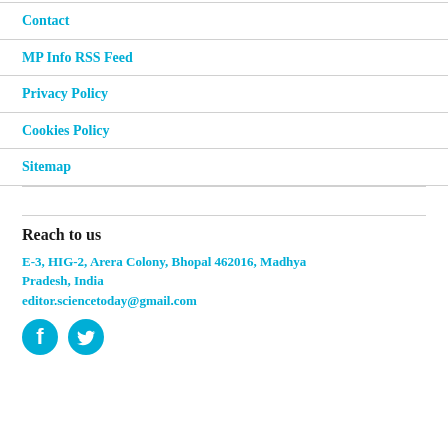Contact
MP Info RSS Feed
Privacy Policy
Cookies Policy
Sitemap
Reach to us
E-3, HIG-2, Arera Colony, Bhopal 462016, Madhya Pradesh, India
editor.sciencetoday@gmail.com
[Figure (other): Social media icons: Facebook and Twitter]